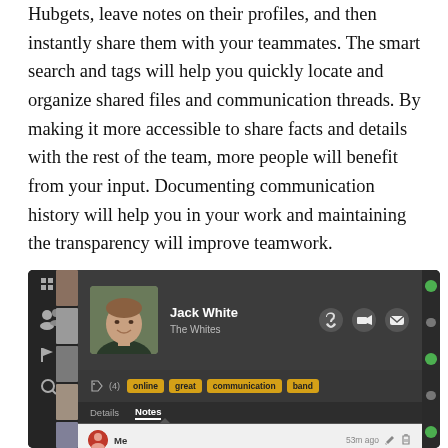Hubgets, leave notes on their profiles, and then instantly share them with your teammates. The smart search and tags will help you quickly locate and organize shared files and communication threads. By making it more accessible to share facts and details with the rest of the team, more people will benefit from your input. Documenting communication history will help you in your work and maintaining the transparency will improve teamwork.
[Figure (screenshot): Screenshot of a CRM/contact app showing a contact profile for Jack White (The Whites), with avatar photo, call/video/email icons, tags (online, great, communication, band), Details and Notes tabs, and a note from 'Me' 53m ago: Jack's out of office from Mar 14 until Mar 28. For emergencies, talk to his CTO - James Storm.]